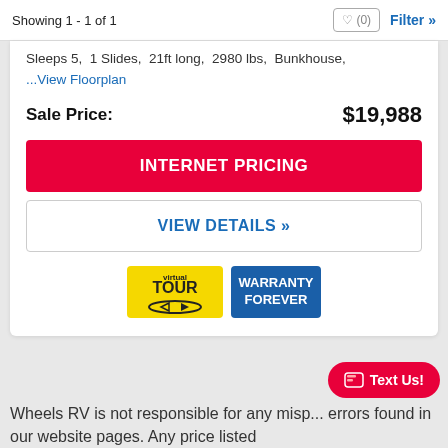Showing 1 - 1 of 1
Sleeps 5,  1 Slides,  21ft long,  2980 lbs,  Bunkhouse,
...View Floorplan
Sale Price:  $19,988
INTERNET PRICING
VIEW DETAILS »
[Figure (logo): Virtual Tour badge - yellow background with tour arrow logo]
[Figure (logo): Warranty Forever badge - blue background with white text]
Text Us!
Wheels RV is not responsible for any misp... errors found in our website pages. Any price listed